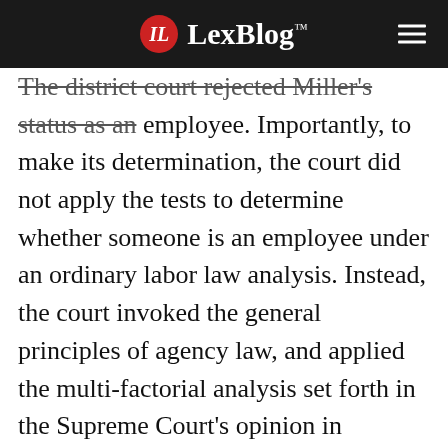LexBlog™
screenplay.
The district court rejected Miller's status as an employee. Importantly, to make its determination, the court did not apply the tests to determine whether someone is an employee under an ordinary labor law analysis. Instead, the court invoked the general principles of agency law, and applied the multi-factorial analysis set forth in the Supreme Court's opinion in Community for Creative Non- Violence v. Reid, 490 U.S. 730, 737 (1989).
In upholding the district court's ruling, the